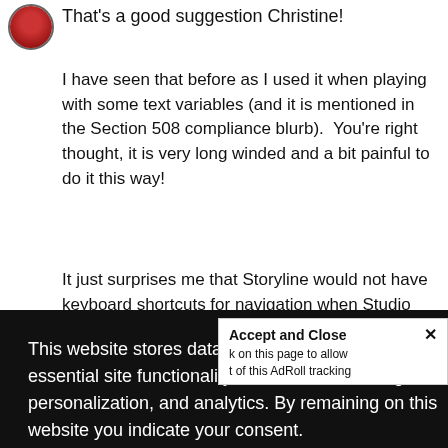That's a good suggestion Christine!
I have seen that before as I used it when playing with some text variables (and it is mentioned in the Section 508 compliance blurb).  You're right thought, it is very long winded and a bit painful to do it this way!
It just surprises me that Storyline would not have keyboard shortcuts for navigation when Studio
[Figure (screenshot): Cookie consent overlay popup with dark background. Text reads: 'This website stores data such as cookies to enable essential site functionality, as well as marketing, personalization, and analytics. By remaining on this website you indicate your consent.' with a Privacy Notice link and close button.]
ago
Accept and Close ×
k on this page to allow t of this AdRoll tracking
Y A b
because I am trying to do the same thing